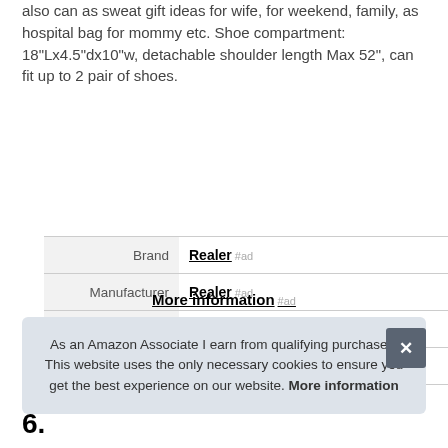also can as sweat gift ideas for wife, for weekend, family, as hospital bag for mommy etc. Shoe compartment: 18"Lx4.5"dx10"w, detachable shoulder length Max 52", can fit up to 2 pair of shoes.
|  |  |
| --- | --- |
| Brand | Realer #ad |
| Manufacturer | Realer #ad |
| Part Number | VYWB1622RE59M |
| Model | VYWB1622RE59M |
More information #ad
As an Amazon Associate I earn from qualifying purchases. This website uses the only necessary cookies to ensure you get the best experience on our website. More information
6.